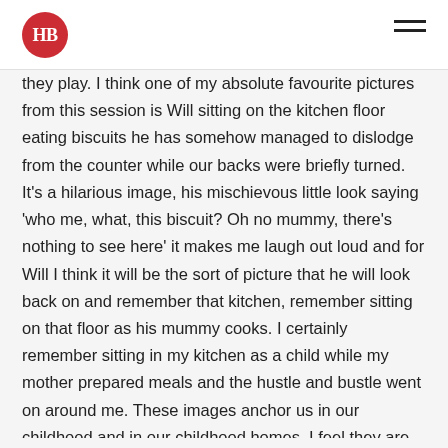HB
they play. I think one of my absolute favourite pictures from this session is Will sitting on the kitchen floor eating biscuits he has somehow managed to dislodge from the counter while our backs were briefly turned. It's a hilarious image, his mischievous little look saying 'who me, what, this biscuit? Oh no mummy, there's nothing to see here' it makes me laugh out loud and for Will I think it will be the sort of picture that he will look back on and remember that kitchen, remember sitting on that floor as his mummy cooks. I certainly remember sitting in my kitchen as a child while my mother prepared meals and the hustle and bustle went on around me. These images anchor us in our childhood and in our childhood homes, I feel they are special.